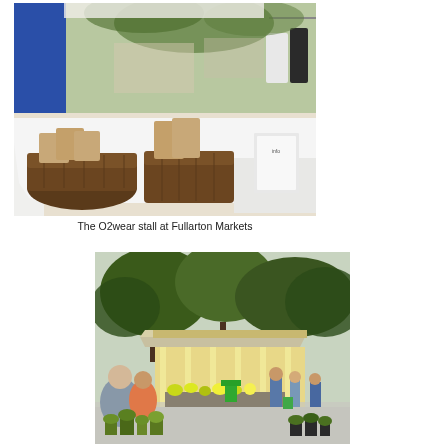[Figure (photo): A market stall with a white tablecloth, wicker baskets, brown paper bags, and clothing hanging on display, with trees and other market stalls visible in the background.]
The O2wear stall at Fullarton Markets
[Figure (photo): An outdoor market scene with people browsing plants and flowers in front of a yellow heritage-style pavilion building surrounded by large trees.]